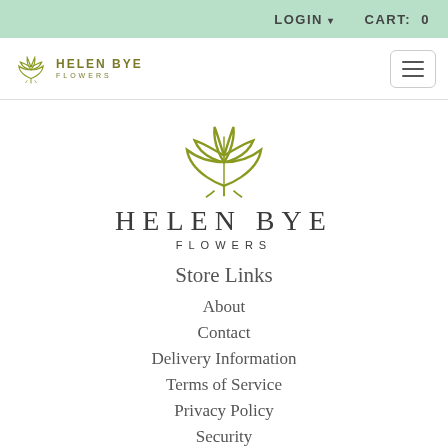LOGIN ▾   CART: 0
[Figure (logo): Helen Bye Flowers logo small - lotus flower icon with text HELEN BYE FLOWERS in nav bar]
[Figure (logo): Helen Bye Flowers large centered logo - olive/green lotus flower SVG icon with HELEN BYE FLOWERS text below]
Store Links
About
Contact
Delivery Information
Terms of Service
Privacy Policy
Security
Copyright